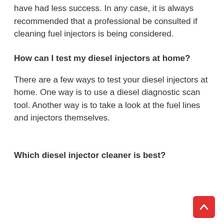have had less success. In any case, it is always recommended that a professional be consulted if cleaning fuel injectors is being considered.
How can I test my diesel injectors at home?
There are a few ways to test your diesel injectors at home. One way is to use a diesel diagnostic scan tool. Another way is to take a look at the fuel lines and injectors themselves.
Which diesel injector cleaner is best?